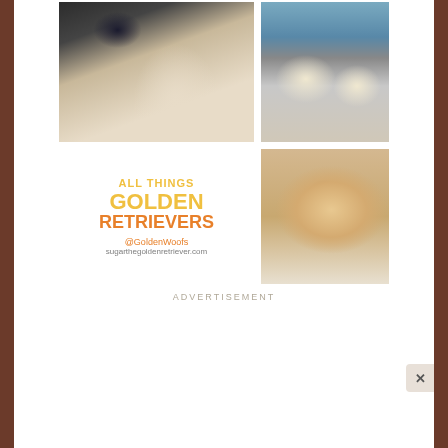[Figure (photo): Collage of golden retrievers: top-left shows a person grooming a fluffy golden retriever, top-right shows two golden retriever dogs in a car, bottom-right shows a golden retriever puppy lying down. Bottom-left panel is a white ad panel with text 'ALL THINGS GOLDEN RETRIEVERS @GoldenWoofs sugarthegoldenretriever.com' in yellow and orange bold text.]
ADVERTISEMENT